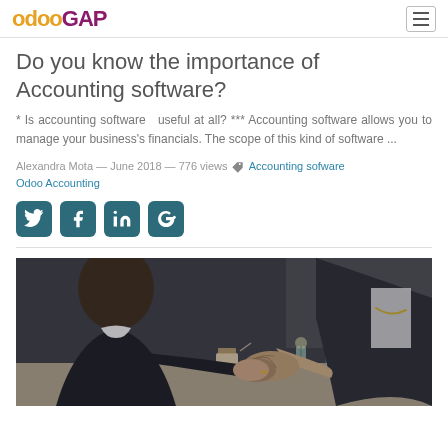OdooGAP [logo] [hamburger menu]
Do you know the importance of Accounting software?
* Is accounting software   useful at all? *** Accounting software allows you to manage your business's financials. The scope of this kind of software ...
Alexandra Mota — June 2018 — 776 views 🏷 Accounting sofware Odoo Accounting
[Figure (other): Social media share buttons: Twitter, Facebook, LinkedIn, Google+]
[Figure (photo): Two business people shaking hands across a table in a café setting]